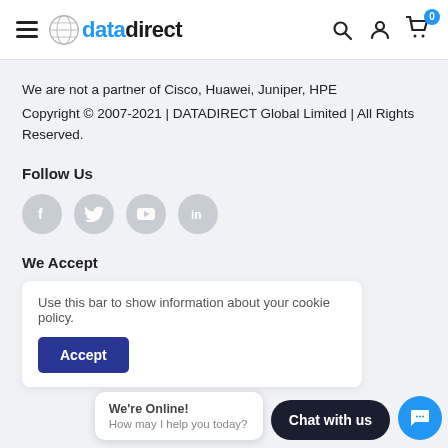[Figure (logo): datadirect logo with globe icon and hamburger menu on left; search, user, and cart icons on right]
We are not a partner of Cisco, Huawei, Juniper, HPE
Copyright © 2007-2021 | DATADIRECT Global Limited | All Rights Reserved.
Follow Us
[Figure (illustration): Four social media icons: Facebook, Twitter, YouTube, LinkedIn — all in grey circles]
We Accept
Use this bar to show information about your cookie policy.
Accept
We're Online! How may I help you today?
Chat with us